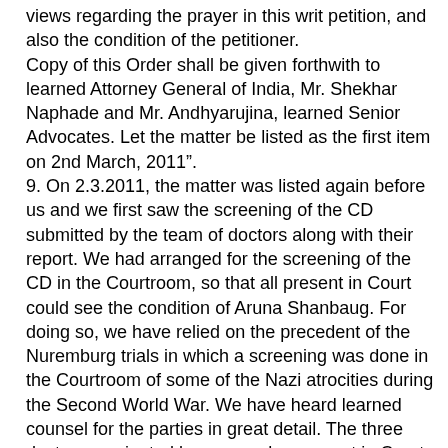views regarding the prayer in this writ petition, and also the condition of the petitioner. Copy of this Order shall be given forthwith to learned Attorney General of India, Mr. Shekhar Naphade and Mr. Andhyarujina, learned Senior Advocates. Let the matter be listed as the first item on 2nd March, 2011". 9. On 2.3.2011, the matter was listed again before us and we first saw the screening of the CD submitted by the team of doctors along with their report. We had arranged for the screening of the CD in the Courtroom, so that all present in Court could see the condition of Aruna Shanbaug. For doing so, we have relied on the precedent of the Nuremburg trials in which a screening was done in the Courtroom of some of the Nazi atrocities during the Second World War. We have heard learned counsel for the parties in great detail. The three doctors nominated by us are also present in Court. As requested by us, the doctors team submitted a